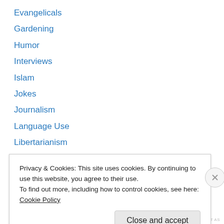Evangelicals
Gardening
Humor
Interviews
Islam
Jokes
Journalism
Language Use
Libertarianism
Livin' in the USA
Mormonism
Movie Reviews
Music
Privacy & Cookies: This site uses cookies. By continuing to use this website, you agree to their use. To find out more, including how to control cookies, see here: Cookie Policy
Close and accept